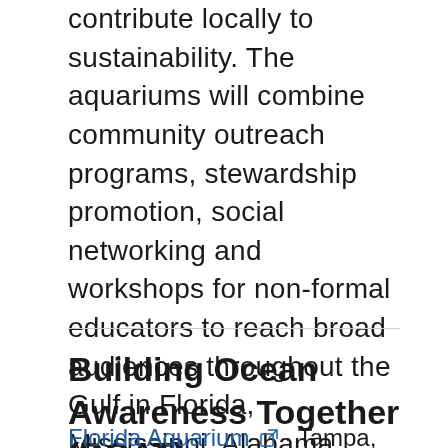contribute locally to sustainability. The aquariums will combine community outreach programs, stewardship promotion, social networking and workshops for non-formal educators to reach broad audiences throughout the Gulf in Florida, Mississippi, Alabama, Louisiana, Texas and Mexico.
Show More ▼
Building Ocean Awareness Together (BOAT)
Florida Aquarium ↗ · Tampa, Florida